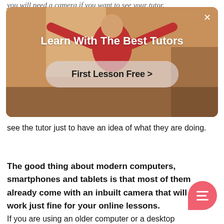you will need a camera if you want to see your tutor.
[Figure (screenshot): Advertisement banner showing a person with arms raised in a room, overlaid with text 'Learn With The Best Tutors' and a button 'First Lesson Free >' with a close X button in top right]
see the tutor just to have an idea of what they are doing.
The good thing about modern computers, smartphones and tablets is that most of them already come with an inbuilt camera that will work just fine for your online lessons.
If you are using an older computer or a desktop